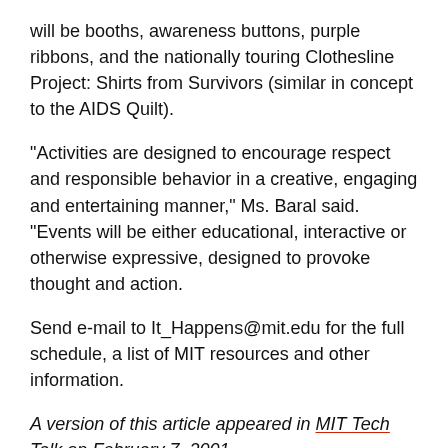will be booths, awareness buttons, purple ribbons, and the nationally touring Clothesline Project: Shirts from Survivors (similar in concept to the AIDS Quilt).
"Activities are designed to encourage respect and responsible behavior in a creative, engaging and entertaining manner," Ms. Baral said. "Events will be either educational, interactive or otherwise expressive, designed to provoke thought and action.
Send e-mail to It_Happens@mit.edu for the full schedule, a list of MIT resources and other information.
A version of this article appeared in MIT Tech Talk on February 7, 2001.